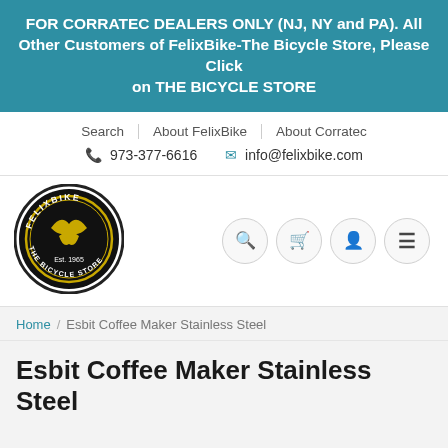FOR CORRATEC DEALERS ONLY (NJ, NY and PA). All Other Customers of FelixBike-The Bicycle Store, Please Click on THE BICYCLE STORE
Search | About FelixBike | About Corratec
973-377-6616  info@felixbike.com
[Figure (logo): FelixBike - The Bicycle Store circular logo with gold bicycle emblem, black background, Est. 1965]
Search icon, Cart icon, Account icon, Menu icon buttons
Home / Esbit Coffee Maker Stainless Steel
Esbit Coffee Maker Stainless Steel